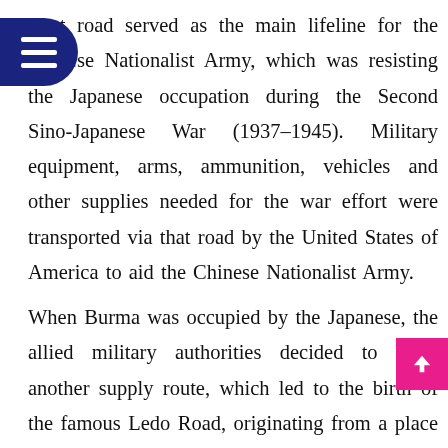That road served as the main lifeline for the Chinese Nationalist Army, which was resisting the Japanese occupation during the Second Sino-Japanese War (1937–1945). Military equipment, arms, ammunition, vehicles and other supplies needed for the war effort were transported via that road by the United States of America to aid the Chinese Nationalist Army.
When Burma was occupied by the Japanese, the allied military authorities decided to build another supply route, which led to the birth of the famous Ledo Road, originating from a place called Ledo in northeastern India, cutting through the mountainous and densely forested Hukong Valley in northern Burma to link up with the existing Burma Road inside China. Since then, Burma was widely recognised as the backdoor to China.
Here it would be interesting to learn the experts' and